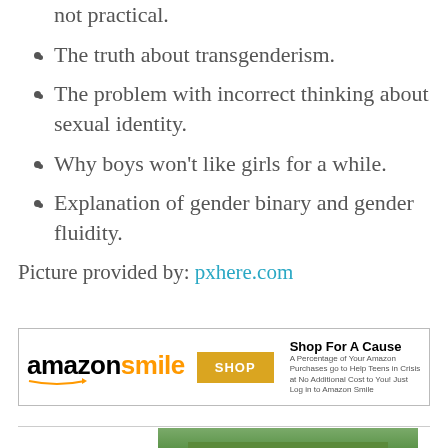not practical.
The truth about transgenderism.
The problem with incorrect thinking about sexual identity.
Why boys won't like girls for a while.
Explanation of gender binary and gender fluidity.
Picture provided by: pxhere.com
[Figure (other): Amazon Smile advertisement banner with shop button and 'Shop For A Cause' tagline]
[Figure (photo): Partial photo of people with raised hands outdoors, bottom portion of page]